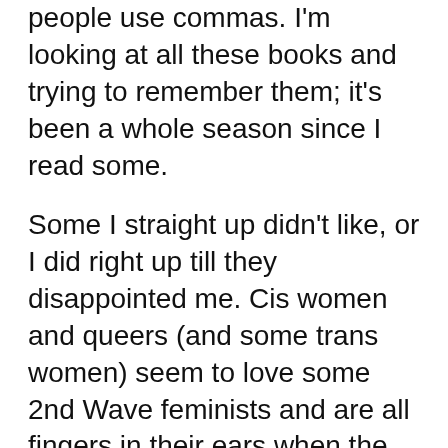people use commas. I'm looking at all these books and trying to remember them; it's been a whole season since I read some.
Some I straight up didn't like, or I did right up till they disappointed me. Cis women and queers (and some trans women) seem to love some 2nd Wave feminists and are all fingers in their ears when the copious evidence of their faves being TERFs and SWERFs is pointed out. So I was loving Kamilah Aisha Moon's She Has a Name right up till she gave a whole page to Adrienne Rich. I don't think it's too much to say I can't move beyond that knowing those same 2nd Wavers are still alive and as committed as ever to erasing trans people — especially and with particular violence trans girls, women, and